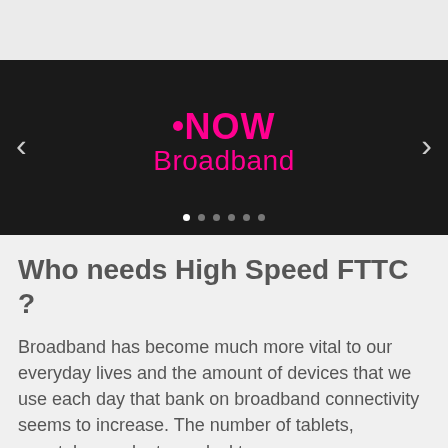[Figure (screenshot): NOW Broadband logo on black banner with left and right navigation arrows and dot pagination indicators]
Who needs High Speed FTTC ?
Broadband has become much more vital to our everyday lives and the amount of devices that we use each day that bank on broadband connectivity seems to increase. The number of tablets, smartphones, laptops, desktops, games